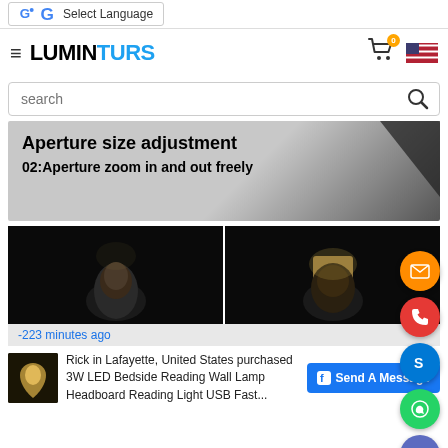[Figure (screenshot): Google Translate 'Select Language' bar at top of page]
LUMINTURS — website header with hamburger menu, logo, cart (0), and US flag
[Figure (screenshot): Search bar with placeholder text 'search' and magnifying glass icon]
[Figure (screenshot): Product banner: 'Aperture size adjustment' and '02:Aperture zoom in and out freely' on grey/dark gradient background, with orange email, red phone, blue Skype, green WhatsApp, and purple scroll-up floating action buttons]
[Figure (photo): Two side-by-side dark product demo photos showing a person's head with spotlighting effects]
-223 minutes ago
Rick in Lafayette, United States purchased
3W LED Bedside Reading Wall Lamp
Headboard Reading Light USB Fast...
[Figure (screenshot): Facebook 'Send A Message' blue button]